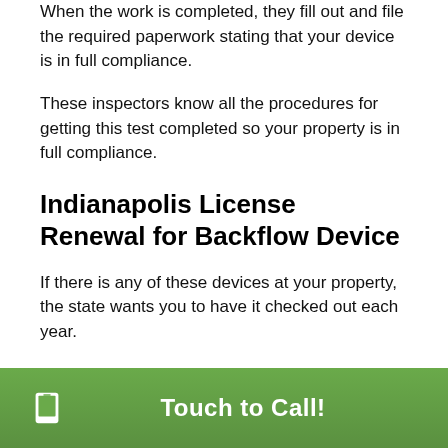When the work is completed, they fill out and file the required paperwork stating that your device is in full compliance.
These inspectors know all the procedures for getting this test completed so your property is in full compliance.
Indianapolis License Renewal for Backflow Device
If there is any of these devices at your property, the state wants you to have it checked out each year.
The examination is to look for devices that could fail during a water pressure reversal situation.
The inspection cannot be performed by the property owner. It has to be done by someone who Indiana has certified to do it.
Touch to Call!